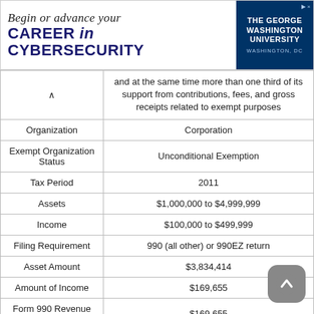[Figure (other): Advertisement banner for The George Washington University Cybersecurity program]
| (chevron up) | and at the same time more than one third of its support from contributions, fees, and gross receipts related to exempt purposes |
| Organization | Corporation |
| Exempt Organization Status | Unconditional Exemption |
| Tax Period | 2011 |
| Assets | $1,000,000 to $4,999,999 |
| Income | $100,000 to $499,999 |
| Filing Requirement | 990 (all other) or 990EZ return |
| Asset Amount | $3,834,414 |
| Amount of Income | $169,655 |
| Form 990 Revenue Amount | $169,655 |